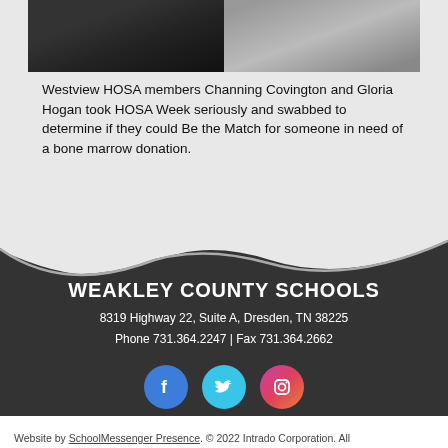[Figure (photo): Two side-by-side photos of Westview HOSA members Channing Covington and Gloria Hogan]
Westview HOSA members Channing Covington and Gloria Hogan took HOSA Week seriously and swabbed to determine if they could Be the Match for someone in need of a bone marrow donation.
WEAKLEY COUNTY SCHOOLS
8319 Highway 22, Suite A, Dresden, TN 38225
Phone 731.364.2247 | Fax 731.364.2662
[Figure (logo): Social media icons: Facebook, Twitter, Instagram]
Website by SchoolMessenger Presence. © 2022 Intrado Corporation. All